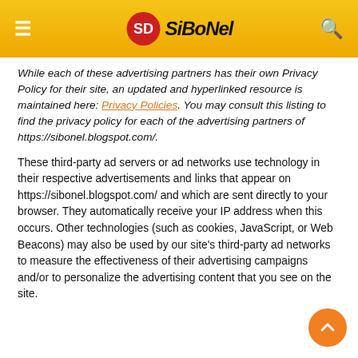SiboNel – website header with hamburger menu, logo, and search icon
While each of these advertising partners has their own Privacy Policy for their site, an updated and hyperlinked resource is maintained here: Privacy Policies. You may consult this listing to find the privacy policy for each of the advertising partners of https://sibonel.blogspot.com/.
These third-party ad servers or ad networks use technology in their respective advertisements and links that appear on https://sibonel.blogspot.com/ and which are sent directly to your browser. They automatically receive your IP address when this occurs. Other technologies (such as cookies, JavaScript, or Web Beacons) may also be used by our site's third-party ad networks to measure the effectiveness of their advertising campaigns and/or to personalize the advertising content that you see on the site.